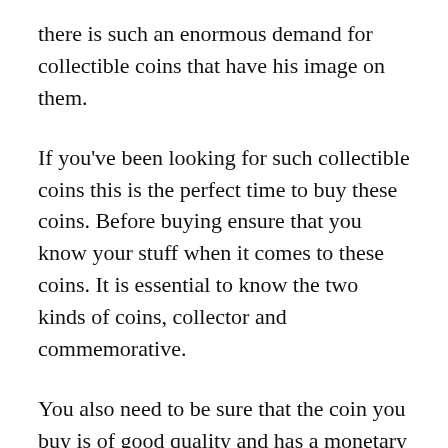there is such an enormous demand for collectible coins that have his image on them.
If you've been looking for such collectible coins this is the perfect time to buy these coins. Before buying ensure that you know your stuff when it comes to these coins. It is essential to know the two kinds of coins, collector and commemorative.
You also need to be sure that the coin you buy is of good quality and has a monetary value.